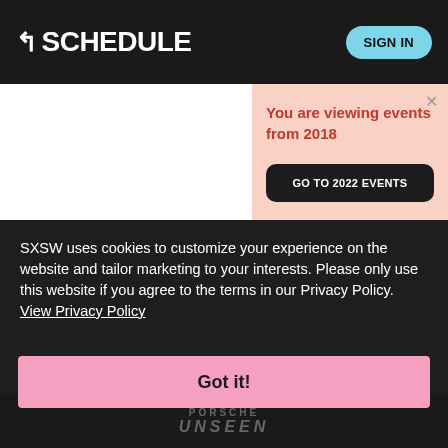⌐ SCHEDULE  SIGN IN
You are viewing events from 2018
GO TO 2022 EVENTS
SXSW uses cookies to customize your experience on the website and tailor marketing to your interests. Please only use this website if you agree to the terms in our Privacy Policy.  View Privacy Policy
Got it!
[Figure (logo): Porsche Unseen logo text at the bottom of page]